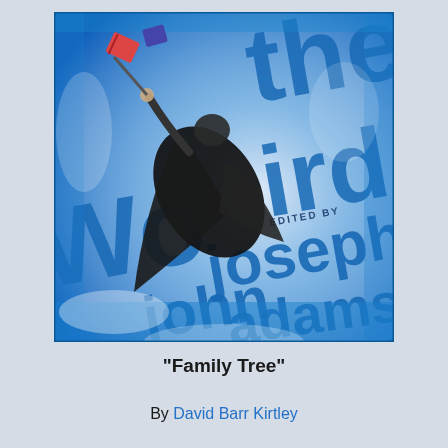[Figure (illustration): Book cover image with blue and white typographic background showing large blue letters forming 'Writing the Word' and 'Edited by John Joseph Adams', with a dark-caped figure flying/falling across the cover holding items.]
“Family Tree”
By David Barr Kirtley